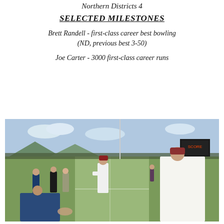Northern Districts 4
SELECTED MILESTONES
Brett Randell - first-class career best bowling (ND, previous best 3-50)
Joe Carter - 3000 first-class career runs
[Figure (photo): Cricket match scene showing players and officials at the coin toss on a cricket ground, with a mountain visible in the background.]